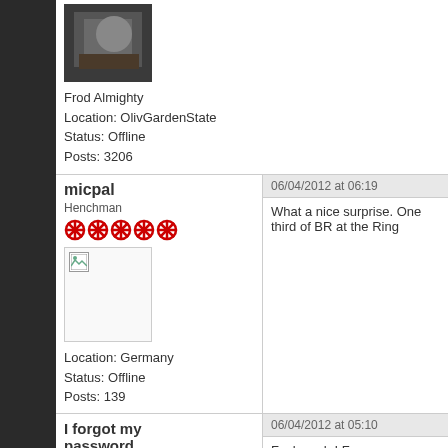[Figure (photo): User avatar photo - dark background with objects]
Frod Almighty
Location: OlivGardenState
Status: Offline
Posts: 3206
micpal
Henchman
06/04/2012 at 06:19
What a nice surprise. One third of BR at the Ring
[Figure (photo): Broken image placeholder for micpal avatar]
Location: Germany
Status: Offline
Posts: 139
I forgot my password
Henchman
06/04/2012 at 05:10
Fuck yeah ! For some reason Punk Rock Song s